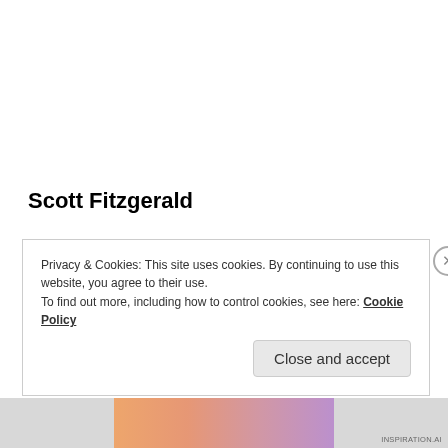Scott Fitzgerald
“You don’t write because you want to say something. You write because you have something to say.”
Privacy & Cookies: This site uses cookies. By continuing to use this website, you agree to their use. To find out more, including how to control cookies, see here: Cookie Policy
Close and accept